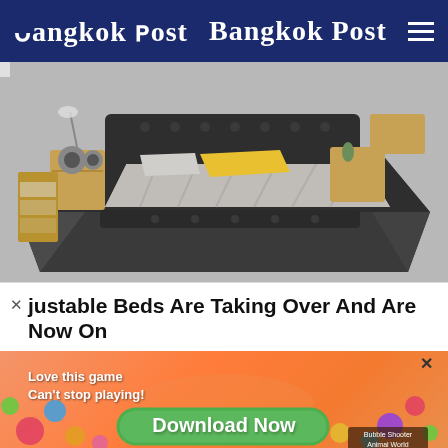Bangkok Post
[Figure (photo): A large multifunctional bed with grey upholstered frame, built-in side tables with storage, speakers, lamp, and yellow pillow on plaid bedding]
justable Beds Are Taking Over And Are Now On
[Figure (screenshot): Mobile game advertisement with orange background. Text: 'Love this game Can't stop playing!' with a green Download Now button and Bubble Shooter Animal World game label]